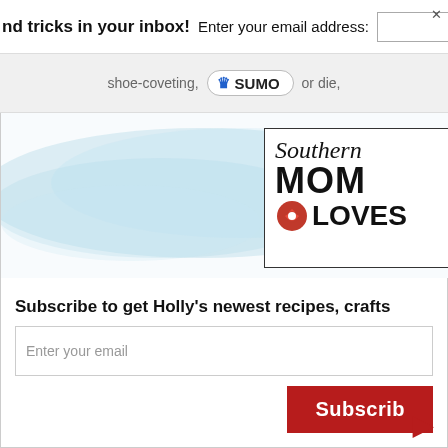nd tricks in your inbox! Enter your email address:
[Figure (logo): SUMO badge/logo with crown icon]
shoe-coveting, or die,
[Figure (logo): Southern Mom Loves logo box with watercolor background]
Subscribe to get Holly's newest recipes, crafts
Enter your email
Subscribe